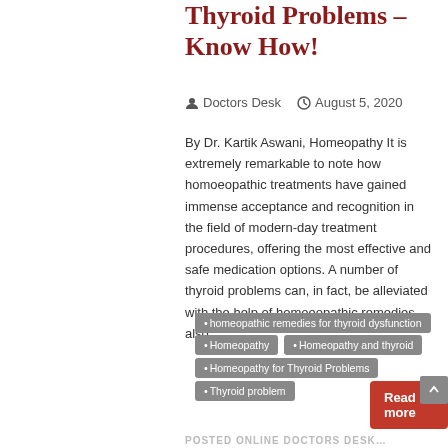Thyroid Problems – Know How!
Doctors Desk  August 5, 2020
By Dr. Kartik Aswani, Homeopathy It is extremely remarkable to note how homoeopathic treatments have gained immense acceptance and recognition in the field of modern-day treatment procedures, offering the most effective and safe medication options. A number of thyroid problems can, in fact, be alleviated with the help of homoeopathic remedies, also…
homeopathic remedies for thyroid dysfunction
Homeopathy
Homeopathy and thyroid
Homeopathy for Thyroid Problems
Thyroid problem